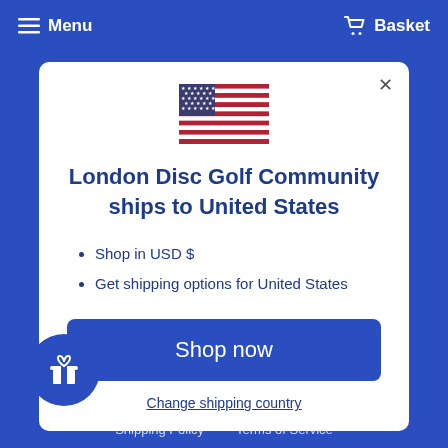Menu   Basket
[Figure (illustration): US flag emoji illustration]
London Disc Golf Community ships to United States
Shop in USD $
Get shipping options for United States
Shop now
Change shipping country
Shipping Policy   Terms of Service